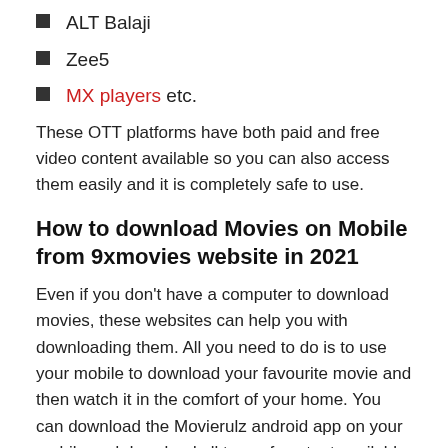ALT Balaji
Zee5
MX players etc.
These OTT platforms have both paid and free video content available so you can also access them easily and it is completely safe to use.
How to download Movies on Mobile from 9xmovies website in 2021
Even if you don't have a computer to download movies, these websites can help you with downloading them. All you need to do is to use your mobile to download your favourite movie and then watch it in the comfort of your home. You can download the Movierulz android app on your mobile and download all type of content available on